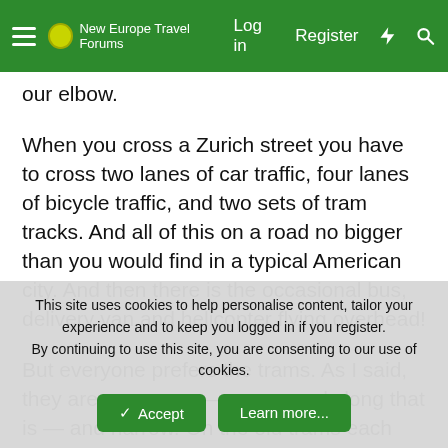New Europe Travel Forums — Log in  Register
our elbow.
When you cross a Zurich street you have to cross two lanes of car traffic, four lanes of bicycle traffic, and two sets of tram tracks. And all of this on a road no bigger than you would find in a typical American city. And then there is the occasional bus, delivery van and helicopter flying overhead!
But everyone prefers the trams. As I said, they are enormous — enormously long that is — and narrow. On the old trams each car is separate. It's like riding a skinny boxcar through a bustling town. But the newer trams are completely open front to back so you can see from the last car all the way to the first. That makes them 50 or 100 yards long and segmented so they can go around corners. On the new trams it's like riding inside a hinged
This site uses cookies to help personalise content, tailor your experience and to keep you logged in if you register.
By continuing to use this site, you are consenting to our use of cookies.